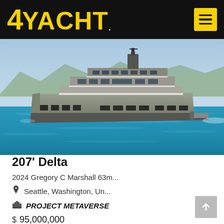4YACHT
[Figure (photo): A large luxury motor yacht with grey hull sailing on blue water with mountains in the background. The yacht has multiple decks, large windows, and a modern design.]
207' Delta
2024 Gregory C Marshall 63m...
Seattle, Washington, Un...
PROJECT METAVERSE
$ 95,000,000